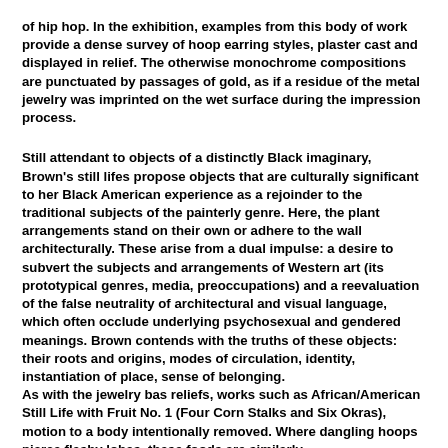of hip hop. In the exhibition, examples from this body of work provide a dense survey of hoop earring styles, plaster cast and displayed in relief. The otherwise monochrome compositions are punctuated by passages of gold, as if a residue of the metal jewelry was imprinted on the wet surface during the impression process.
Still attendant to objects of a distinctly Black imaginary, Brown's still lifes propose objects that are culturally significant to her Black American experience as a rejoinder to the traditional subjects of the painterly genre. Here, the plant arrangements stand on their own or adhere to the wall architecturally. These arise from a dual impulse: a desire to subvert the subjects and arrangements of Western art (its prototypical genres, media, preoccupations) and a reevaluation of the false neutrality of architectural and visual language, which often occlude underlying psychosexual and gendered meanings. Brown contends with the truths of these objects: their roots and origins, modes of circulation, identity, instantiation of place, sense of belonging. As with the jewelry bas reliefs, works such as African/American Still Life with Fruit No. 1 (Four Corn Stalks and Six Okras), motion to a body intentionally removed. Where dangling hoops pierce fleshy lobes, these foods are similarly